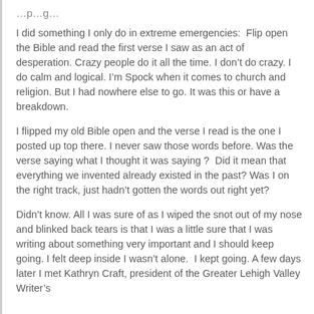I did something I only do in extreme emergencies:  Flip open the Bible and read the first verse I saw as an act of desperation. Crazy people do it all the time. I don’t do crazy. I do calm and logical. I’m Spock when it comes to church and religion. But I had nowhere else to go. It was this or have a breakdown.
I flipped my old Bible open and the verse I read is the one I posted up top there. I never saw those words before. Was the verse saying what I thought it was saying ?  Did it mean that everything we invented already existed in the past? Was I on the right track, just hadn’t gotten the words out right yet?
Didn’t know. All I was sure of as I wiped the snot out of my nose and blinked back tears is that I was a little sure that I was writing about something very important and I should keep going. I felt deep inside I wasn’t alone.  I kept going. A few days later I met Kathryn Craft, president of the Greater Lehigh Valley Writer’s